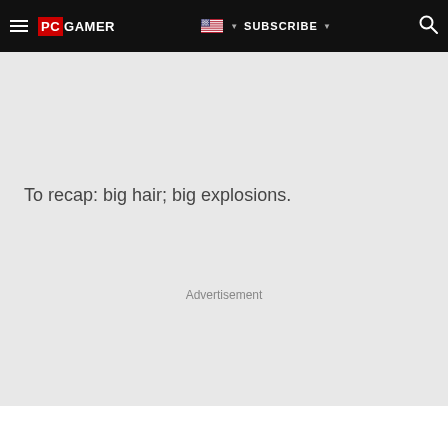PC Gamer — SUBSCRIBE
To recap: big hair; big explosions.
Advertisement